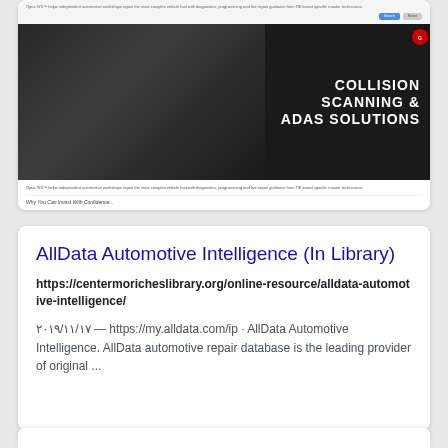[Figure (screenshot): Screenshot preview of a webpage showing a banner with text COLLISION SCANNING & ADAS SOLUTIONS on a dark background with a car interior image, plus small text below describing Opus IVS helping independent automotive workshops]
AllData Automotive Intelligence (In Library)
https://centermoricheslibrary.org/online-resource/alldata-automotive-intelligence/
۲۰۱۹/۱۱/۱۷ — https://my.alldata.com/ip · AllData Automotive Intelligence. AllData automotive repair database is the leading provider of original ...